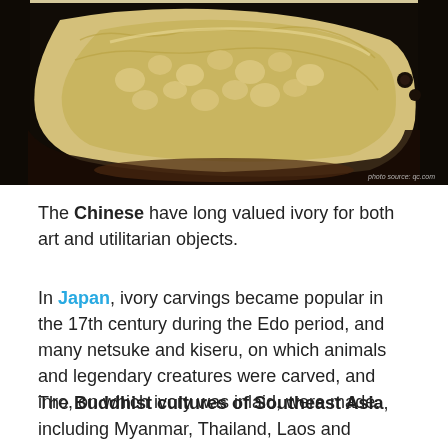[Figure (photo): Close-up photograph of an intricately carved ivory tusk with detailed figurative carvings, displayed against a dark background. Photo credit watermark reads 'photo source: qc.com' in bottom right corner.]
The Chinese have long valued ivory for both art and utilitarian objects.
In Japan, ivory carvings became popular in the 17th century during the Edo period, and many netsuke and kiseru, on which animals and legendary creatures were carved, and inro, on which ivory was inlaid, were made.
The Buddhist cultures of Southeast Asia, including Myanmar, Thailand, Laos and Cambodia, traditionally